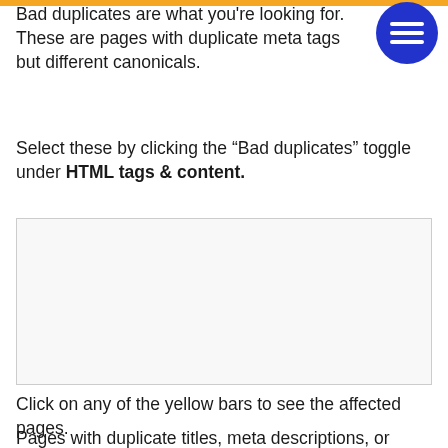Bad duplicates are what you're looking for. These are pages with duplicate meta tags but different canonicals.
Select these by clicking the “Bad duplicates” toggle under HTML tags & content.
[Figure (screenshot): Screenshot placeholder showing a UI panel with yellow bars for bad duplicates filter]
Click on any of the yellow bars to see the affected pages.
Pages with duplicate titles, meta descriptions, or